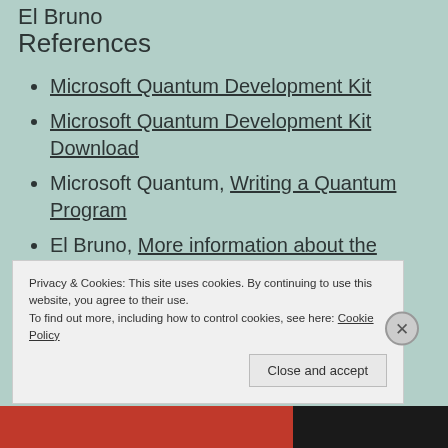El Bruno
References
Microsoft Quantum Development Kit
Microsoft Quantum Development Kit Download
Microsoft Quantum, Writing a Quantum Program
El Bruno, More information about the
Privacy & Cookies: This site uses cookies. By continuing to use this website, you agree to their use.
To find out more, including how to control cookies, see here: Cookie Policy
Close and accept